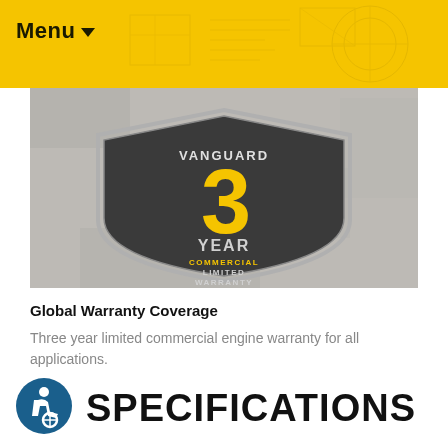Menu
[Figure (logo): Vanguard 3 Year Commercial Limited Warranty badge on concrete background]
Global Warranty Coverage
Three year limited commercial engine warranty for all applications.
SPECIFICATIONS